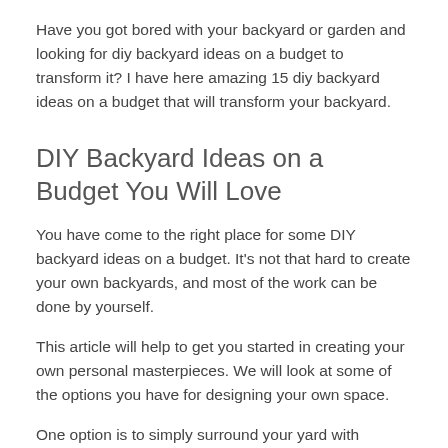Have you got bored with your backyard or garden and looking for diy backyard ideas on a budget to transform it? I have here amazing 15 diy backyard ideas on a budget that will transform your backyard.
DIY Backyard Ideas on a Budget You Will Love
You have come to the right place for some DIY backyard ideas on a budget. It's not that hard to create your own backyards, and most of the work can be done by yourself.
This article will help to get you started in creating your own personal masterpieces. We will look at some of the options you have for designing your own space.
One option is to simply surround your yard with furniture.